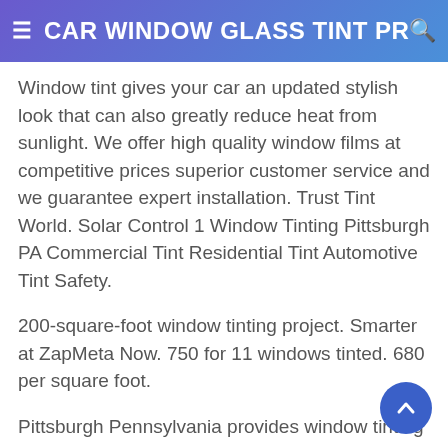CAR WINDOW GLASS TINT PRIV
Window tint gives your car an updated stylish look that can also greatly reduce heat from sunlight. We offer high quality window films at competitive prices superior customer service and we guarantee expert installation. Trust Tint World. Solar Control 1 Window Tinting Pittsburgh PA Commercial Tint Residential Tint Automotive Tint Safety.
200-square-foot window tinting project. Smarter at ZapMeta Now. 750 for 11 windows tinted. 680 per square foot.
Pittsburgh Pennsylvania provides window tinting and auto services for the following areas. Security Vinyl Wrap 412-519-5053 Our Services Gallery 800 860-TINT. Supertint is the premiere choice for professional